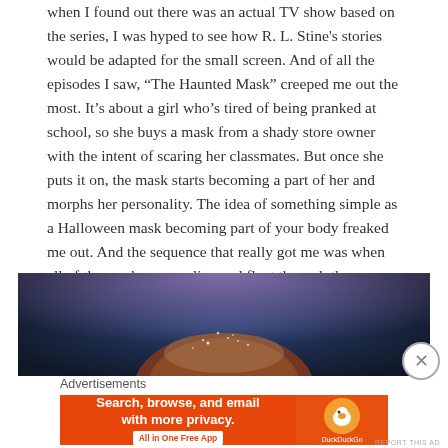when I found out there was an actual TV show based on the series, I was hyped to see how R. L. Stine's stories would be adapted for the small screen. And of all the episodes I saw, “The Haunted Mask” creeped me out the most. It’s about a girl who’s tired of being pranked at school, so she buys a mask from a shady store owner with the intent of scaring her classmates. But once she puts it on, the mask starts becoming a part of her and morphs her personality. The idea of something simple as a Halloween mask becoming part of your body freaked me out. And the sequence that really got me was when all of the masks come alive and float through the graveyard in pursuit of the lead girl. Being chased is scary enough, but being chased by a bunch of soulless faces? Terrifying.
[Figure (photo): Dark blue/purple background photo showing top of a person's head with reddish-brown hair, appearing to be backlit with light scattering through the hair]
Advertisements
[Figure (screenshot): DuckDuckGo advertisement banner with orange background. Left side shows text: 'Search, browse, and email with more privacy. All in One Free App'. Right side shows DuckDuckGo logo (orange circle with duck icon) and brand name.]